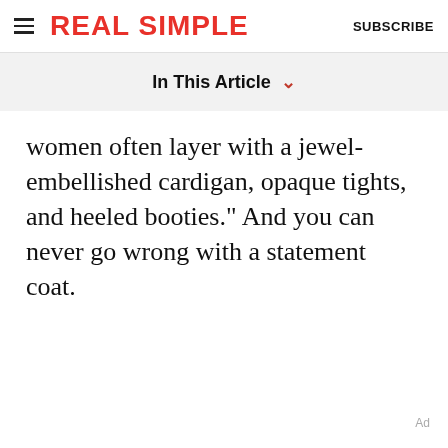REAL SIMPLE  SUBSCRIBE
In This Article
women often layer with a jewel-embellished cardigan, opaque tights, and heeled booties." And you can never go wrong with a statement coat.
Ad